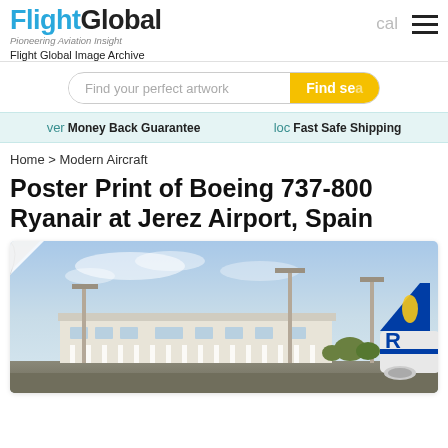FlightGlobal — Pioneering Aviation Insight — Flight Global Image Archive
Find your perfect artwork — Find search button
Money Back Guarantee — Fast Safe Shipping
Home > Modern Aircraft
Poster Print of Boeing 737-800 Ryanair at Jerez Airport, Spain
[Figure (photo): Photograph of a Boeing 737-800 Ryanair aircraft at Jerez Airport, Spain, showing airport terminal building with columns, floodlight poles, and partial view of Ryanair aircraft tail with 'R' logo visible on right side.]